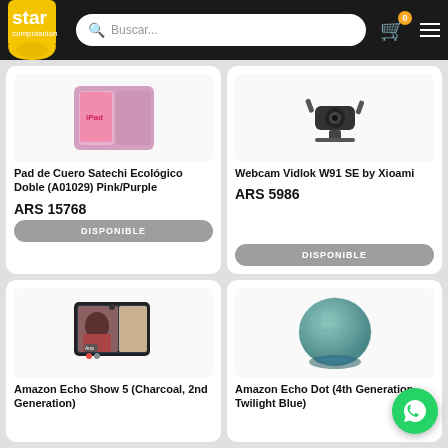[Figure (screenshot): Star computación e-commerce website header with logo, search bar, cart icon with badge showing 0, and hamburger menu on dark background]
Pad de Cuero Satechi Ecológico Doble (A01029) Pink/Purple
ARS 15768
DISPONIBLE
Webcam Vidlok W91 SE by Xioami
ARS 5986
DISPONIBLE
Amazon Echo Show 5 (Charcoal, 2nd Generation)
Amazon Echo Dot (4th Generation, Twilight Blue)